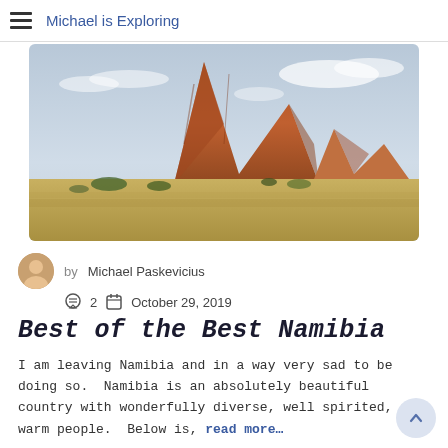Michael is Exploring
[Figure (photo): Landscape photograph of Spitzkoppe, a large rocky mountain in Namibia, with golden savanna grass in the foreground and a dramatic rocky peak against a partly cloudy sky.]
by Michael Paskevicius
2   October 29, 2019
Best of the Best Namibia
I am leaving Namibia and in a way very sad to be doing so.  Namibia is an absolutely beautiful country with wonderfully diverse, well spirited, a. warm people.  Below is, read more…